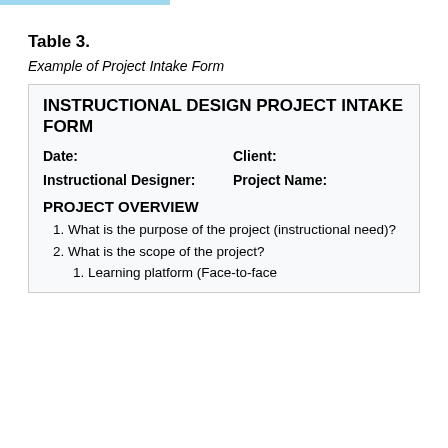Table 3.
Example of Project Intake Form
| INSTRUCTIONAL DESIGN PROJECT INTAKE FORM |
| Date: | Client: |
| Instructional Designer: | Project Name: |
| PROJECT OVERVIEW |
| 1. What is the purpose of the project (instructional need)? |
| 2. What is the scope of the project? |
| 1. Learning platform (Face-to-face |